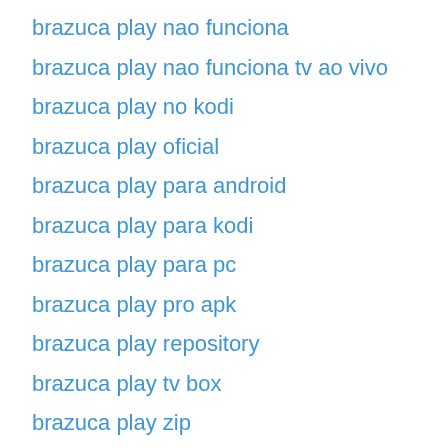brazuca play nao funciona
brazuca play nao funciona tv ao vivo
brazuca play no kodi
brazuca play oficial
brazuca play para android
brazuca play para kodi
brazuca play para pc
brazuca play pro apk
brazuca play repository
brazuca play tv box
brazuca play zip
brazuca play zip download
brazuca player